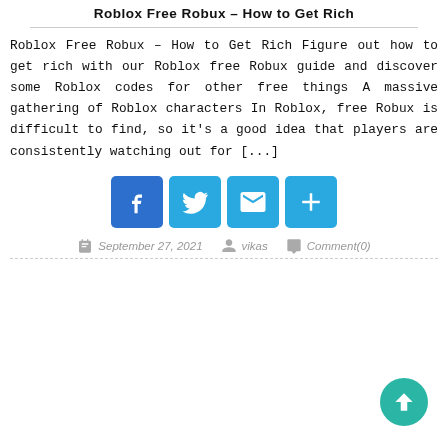Roblox Free Robux – How to Get Rich
Roblox Free Robux – How to Get Rich Figure out how to get rich with our Roblox free Robux guide and discover some Roblox codes for other free things A massive gathering of Roblox characters In Roblox, free Robux is difficult to find, so it's a good idea that players are consistently watching out for [...]
[Figure (infographic): Social sharing buttons: Facebook, Twitter, Email, Share (plus icon)]
September 27, 2021   vikas   Comment(0)